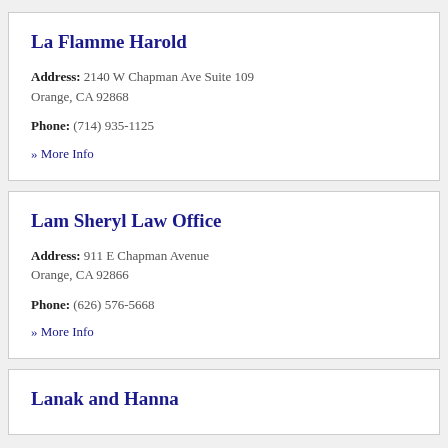La Flamme Harold
Address: 2140 W Chapman Ave Suite 109 Orange, CA 92868
Phone: (714) 935-1125
» More Info
Lam Sheryl Law Office
Address: 911 E Chapman Avenue Orange, CA 92866
Phone: (626) 576-5668
» More Info
Lanak and Hanna